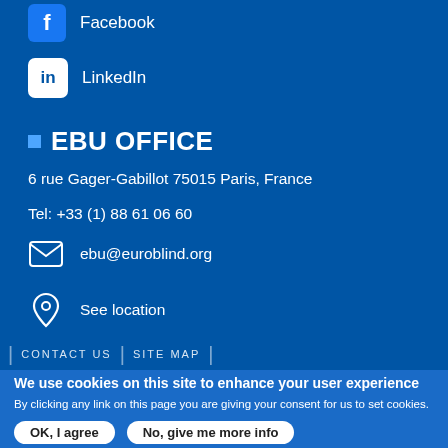Facebook
LinkedIn
EBU OFFICE
6 rue Gager-Gabillot 75015 Paris, France
Tel: +33 (1) 88 61 06 60
ebu@euroblind.org
See location
CONTACT US | SITE MAP
We use cookies on this site to enhance your user experience
By clicking any link on this page you are giving your consent for us to set cookies.
OK, I agree
No, give me more info